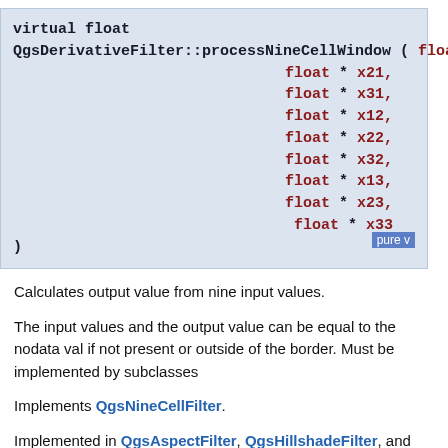virtual float QgsDerivativeFilter::processNineCellWindow ( float * x11,
 float * x21,
 float * x31,
 float * x12,
 float * x22,
 float * x32,
 float * x13,
 float * x23,
 float * x33
 ) pure virtual
Calculates output value from nine input values.
The input values and the output value can be equal to the nodata value if not present or outside of the border. Must be implemented by subclasses
Implements QgsNineCellFilter.
Implemented in QgsAspectFilter, QgsHillshadeFilter, and